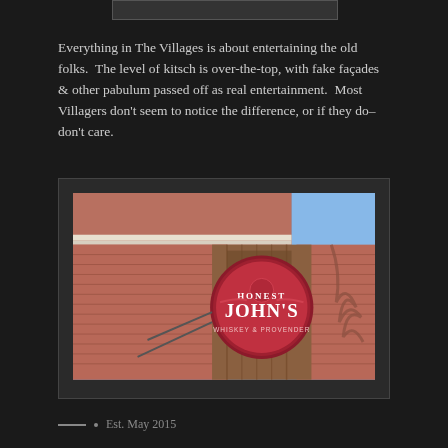[Figure (photo): Top strip of a photo — partial view at top of page]
Everything in The Villages is about entertaining the old folks.  The level of kitsch is over-the-top, with fake façades & other pabulum passed off as real entertainment.  Most Villagers don't seem to notice the difference, or if they do–don't care.
[Figure (photo): Photo of a brick building façade with a round red sign reading 'HONEST JOHN'S WHISKEY & PROVENDER' mounted on a wooden panel background, taken from a low angle looking upward. Blue sky and palm tree shadow visible.]
—  ·  Est. May 2015